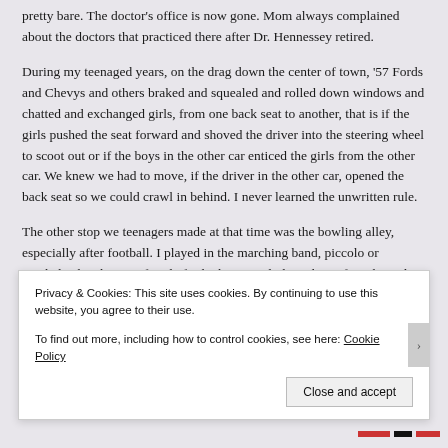pretty bare. The doctor's office is now gone. Mom always complained about the doctors that practiced there after Dr. Hennessey retired.
During my teenaged years, on the drag down the center of town, '57 Fords and Chevys and others braked and squealed and rolled down windows and chatted and exchanged girls, from one back seat to another, that is if the girls pushed the seat forward and shoved the driver into the steering wheel to scoot out or if the boys in the other car enticed the girls from the other car. We knew we had to move, if the driver in the other car, opened the back seat so we could crawl in behind. I never learned the unwritten rule.
The other stop we teenagers made at that time was the bowling alley, especially after football. I played in the marching band, piccolo or cymbals, the oboe too fragile for kicking up clods in the turf. In the girls' bathroom at the bowling alley, cheerleaders sprayed themselves stinky with perfume to
Privacy & Cookies: This site uses cookies. By continuing to use this website, you agree to their use.
To find out more, including how to control cookies, see here: Cookie Policy
Close and accept